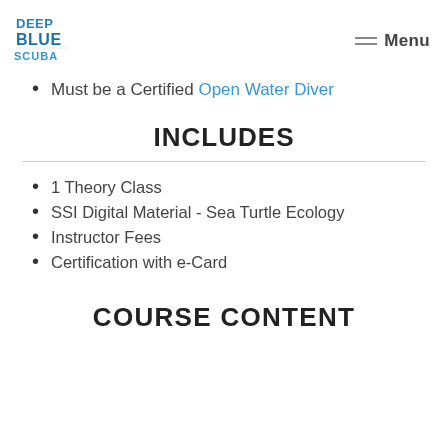DEEP BLUE SCUBA | Menu
Must be a Certified Open Water Diver
INCLUDES
1 Theory Class
SSI Digital Material - Sea Turtle Ecology
Instructor Fees
Certification with e-Card
COURSE CONTENT